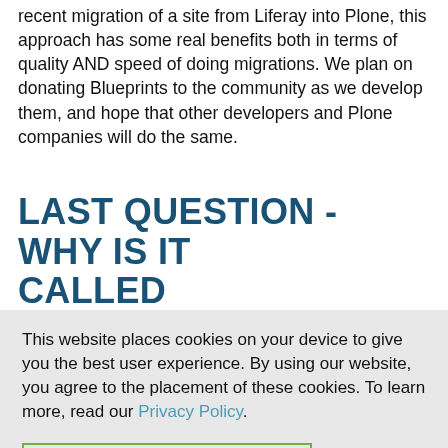recent migration of a site from Liferay into Plone, this approach has some real benefits both in terms of quality AND speed of doing migrations. We plan on donating Blueprints to the community as we develop them, and hope that other developers and Plone companies will do the same.
LAST QUESTION - WHY IS IT CALLED TRANSMOGRIFIER?
This website places cookies on your device to give you the best user experience. By using our website, you agree to the placement of these cookies. To learn more, read our Privacy Policy.
ACCEPT AND CLOSE